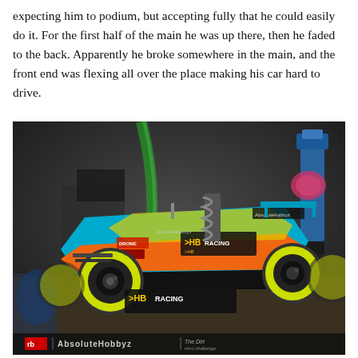expecting him to podium, but accepting fully that he could easily do it. For the first half of the main he was up there, then he faded to the back. Apparently he broke somewhere in the main, and the front end was flexing all over the place making his car hard to drive.
[Figure (photo): Close-up photograph of an HB Racing RC buggy car on a bench, with yellow wheels, colorful body with HB Racing branding, spring suspension visible, and other RC car parts in the blurred background. Watermark at bottom reads: rb logo | AbsoluteHobbyz | The Dirt nitro challenge]